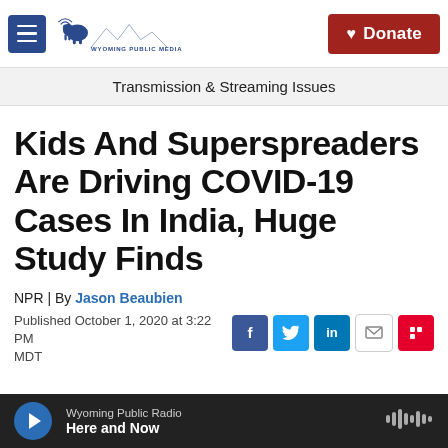Wyoming Public Media | Donate
Transmission & Streaming Issues
Kids And Superspreaders Are Driving COVID-19 Cases In India, Huge Study Finds
NPR | By Jason Beaubien
Published October 1, 2020 at 3:22 PM MDT
Wyoming Public Radio — Here and Now